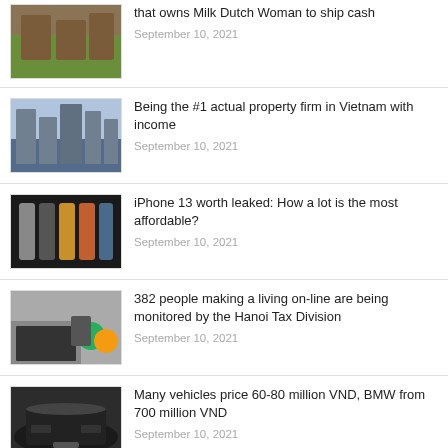that owns Milk Dutch Woman to ship cash
September 10, 2021
Being the #1 actual property firm in Vietnam with income
September 10, 2021
iPhone 13 worth leaked: How a lot is the most affordable?
September 10, 2021
382 people making a living on-line are being monitored by the Hanoi Tax Division
September 10, 2021
Many vehicles price 60-80 million VND, BMW from 700 million VND
September 10, 2021
You'll be able to slowly convert to on-line and...